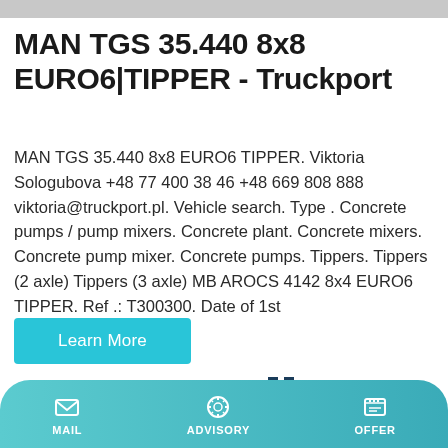MAN TGS 35.440 8x8 EURO6|TIPPER - Truckport
MAN TGS 35.440 8x8 EURO6 TIPPER. Viktoria Sologubova +48 77 400 38 46 +48 669 808 888 viktoria@truckport.pl. Vehicle search. Type . Concrete pumps / pump mixers. Concrete plant. Concrete mixers. Concrete pump mixer. Concrete pumps. Tippers. Tippers (2 axle) Tippers (3 axle) MB AROCS 4142 8x4 EURO6 TIPPER. Ref .: T300300. Date of 1st
Learn More
[Figure (illustration): Concrete batching plant with two tall blue and white cylindrical silos, yellow conveyor structure, and blue hopper base.]
MAIL   ADVISORY   OFFER